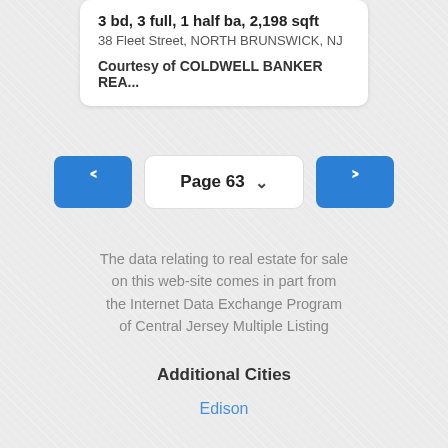3 bd, 3 full, 1 half ba, 2,198 sqft
38 Fleet Street, NORTH BRUNSWICK, NJ
Courtesy of COLDWELL BANKER REA...
Page 63
The data relating to real estate for sale on this web-site comes in part from the Internet Data Exchange Program of Central Jersey Multiple Listing
Additional Cities
Edison